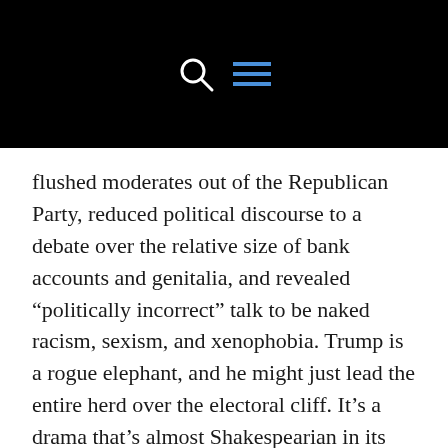[search icon] [menu icon]
flushed moderates out of the Republican Party, reduced political discourse to a debate over the relative size of bank accounts and genitalia, and revealed “politically incorrect” talk to be naked racism, sexism, and xenophobia. Trump is a rogue elephant, and he might just lead the entire herd over the electoral cliff. It’s a drama that’s almost Shakespearian in its combination of low comedy and fratricidal bloodletting.
I was confident back in August that Trump could win the Republican primary, because his messages were perfectly tailored to 95